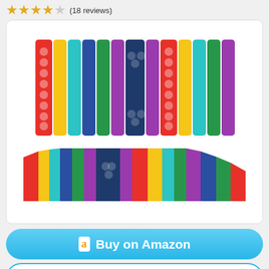★★★★☆ (18 reviews)
[Figure (photo): Colorful rainbow pop-it fidget toy shown from front — vertical stripes in red, yellow, teal, dark blue, green, purple, dark navy (center), arranged symmetrically, with circular bubble buttons]
[Figure (photo): Same colorful rainbow pop-it fidget toy shown from a top-down angled perspective — same color stripes visible]
Buy on Amazon
Start Watching